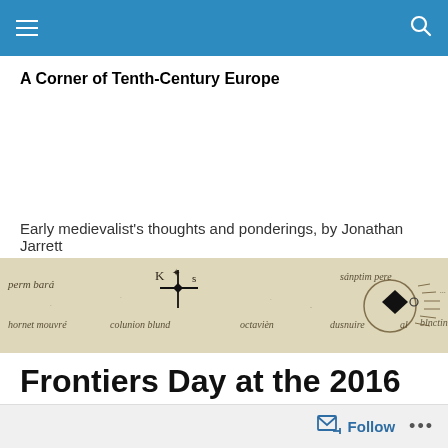Navigation bar
A Corner of Tenth-Century Europe
Early medievalist's thoughts and ponderings, by Jonathan Jarrett
[Figure (photo): A medieval manuscript document showing handwritten Latin text and a cross/compass symbol with a black diamond shape, on aged parchment.]
Frontiers Day at the 2016 International Medieval Congress
Follow ...